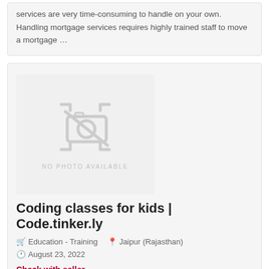services are very time-consuming to handle on your own. Handling mortgage services requires highly trained staff to move a mortgage …
[Figure (photo): No photo available placeholder with camera icon and text 'NO PHOTO AVAILABLE']
Coding classes for kids | Code.tinker.ly
Education - Training  Jaipur (Rajasthan)
August 23, 2022
Check with seller